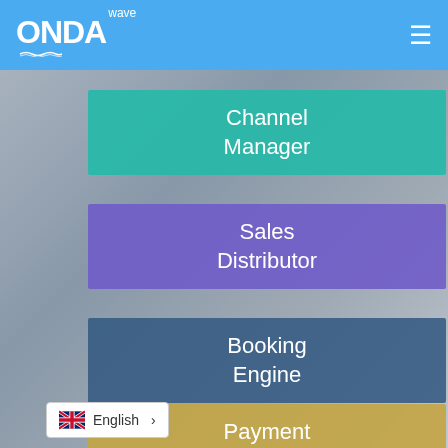[Figure (screenshot): ONDA wave logo in white on blue navigation bar with hamburger menu icon on the right]
Channel Manager
Sales Distributor
Booking Engine
Payment Solution
English >